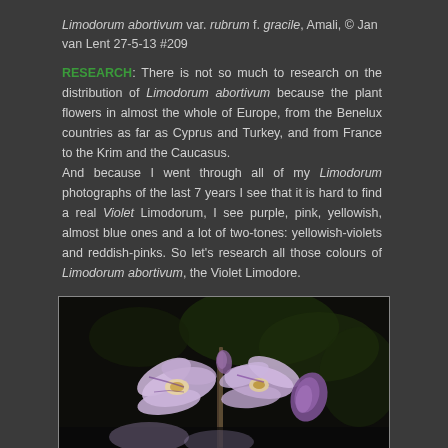Limodorum abortivum var. rubrum f. gracile, Amali, © Jan van Lent 27-5-13 #209
RESEARCH: There is not so much to research on the distribution of Limodorum abortivum because the plant flowers in almost the whole of Europe, from the Benelux countries as far as Cyprus and Turkey, and from France to the Krim and the Caucasus. And because I went through all of my Limodorum photographs of the last 7 years I see that it is hard to find a real Violet Limodorum, I see purple, pink, yellowish, almost blue ones and a lot of two-tones: yellowish-violets and reddish-pinks. So let's research all those colours of Limodorum abortivum, the Violet Limodore.
[Figure (photo): Close-up photograph of Limodorum abortivum flowers, showing pale violet/purple petals with darker purple markings against a dark background]